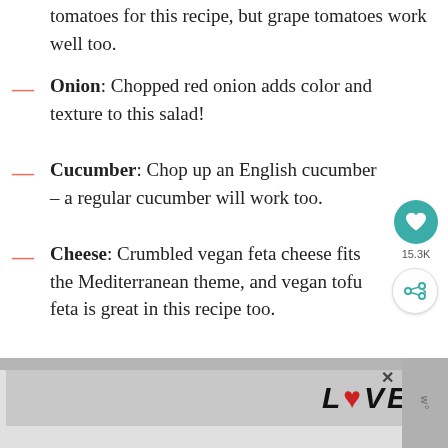tomatoes for this recipe, but grape tomatoes work well too.
Onion: Chopped red onion adds color and texture to this salad!
Cucumber: Chop up an English cucumber – a regular cucumber will work too.
Cheese: Crumbled vegan feta cheese fits the Mediterranean theme, and vegan tofu feta is great in this recipe too.
Chopped Parsley: Remember to remove the stems before adding it to the salad.
[Figure (other): Advertisement banner with LOVE text art and close button]